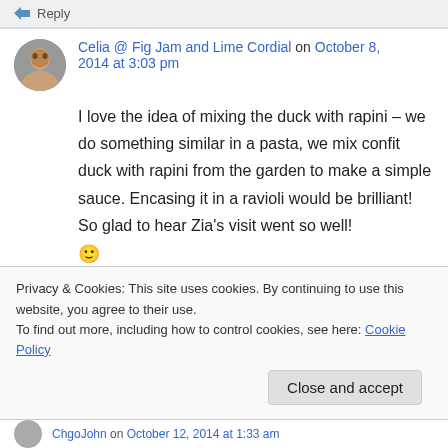Reply
Celia @ Fig Jam and Lime Cordial on October 8, 2014 at 3:03 pm
I love the idea of mixing the duck with rapini – we do something similar in a pasta, we mix confit duck with rapini from the garden to make a simple sauce. Encasing it in a ravioli would be brilliant! So glad to hear Zia's visit went so well! 🙂
Privacy & Cookies: This site uses cookies. By continuing to use this website, you agree to their use. To find out more, including how to control cookies, see here: Cookie Policy
Close and accept
ChgoJohn on October 12, 2014 at 1:33 am